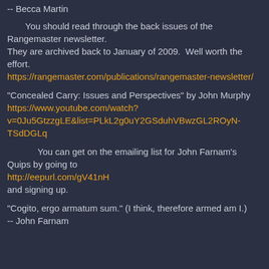-- Becca Martin
You should read through the back issues of the Rangemaster newsletter.
They are archived back to January of 2009.  Well worth the effort.
https://rangemaster.com/publications/rangemaster-newsletter/
"Concealed Carry: Issues and Perspectives" by John Murphy
https://www.youtube.com/watch?v=0Ju5GtzzgLE&list=PLkL2g0uY2GSduhVBwzGL2ROyN-TSdDGLq
You can get on the emailing list for John Farnam's Quips by going to
http://eepurl.com/gV41nH
and signing up.
"Cogito, ergo armatum sum." (I think, therefore armed am I.)
-- John Farnam